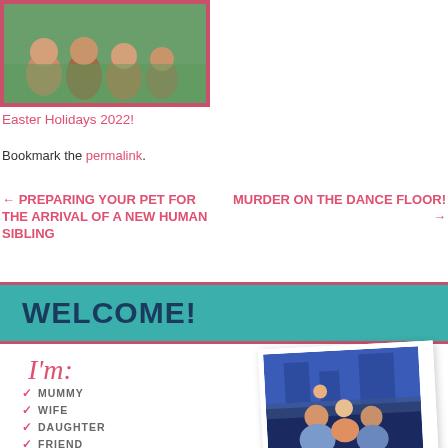[Figure (photo): Family photo with multiple people sitting on grass, with a dark purple/pink border frame]
Easter Holidays 2022!
Bookmark the permalink.
← PREPARING YOUR PET FOR THE ARRIVAL OF A NEW HUMAN SIBLING
MURDER ON THE DANCE FLOOR! →
WELCOME!
[Figure (infographic): I'm: checklist with MUMMY, WIFE, DAUGHTER, FRIEND, ACTRESS in pink script with checkmarks, alongside a family photo tilted slightly showing people at a castle]
✓ MUMMY
✓ WIFE
✓ DAUGHTER
✓ FRIEND
✓ ACTRESS